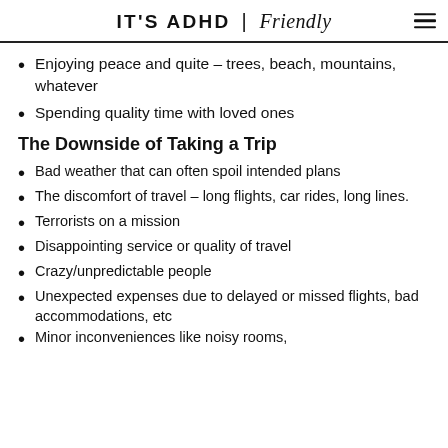IT'S ADHD | Friendly
Enjoying peace and quite – trees, beach, mountains, whatever
Spending quality time with loved ones
The Downside of Taking a Trip
Bad weather that can often spoil intended plans
The discomfort of travel – long flights, car rides, long lines.
Terrorists on a mission
Disappointing service or quality of travel
Crazy/unpredictable people
Unexpected expenses due to delayed or missed flights, bad accommodations, etc
Minor inconveniences like noisy rooms,